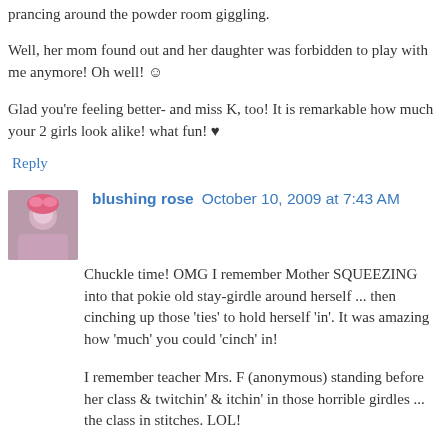prancing around the powder room giggling.
Well, her mom found out and her daughter was forbidden to play with me anymore! Oh well! ☺
Glad you're feeling better- and miss K, too! It is remarkable how much your 2 girls look alike! what fun! ♥
Reply
blushing rose  October 10, 2009 at 7:43 AM
Chuckle time! OMG I remember Mother SQUEEZING into that pokie old stay-girdle around herself ... then cinching up those 'ties' to hold herself 'in'. It was amazing how 'much' you could 'cinch' in!
I remember teacher Mrs. F (anonymous) standing before her class & twitchin' & itchin' in those horrible girdles ... the class in stitches. LOL!
Well, the change in our lifestyles are certainly different than when we were raised in our uncomplicated childhoods. I